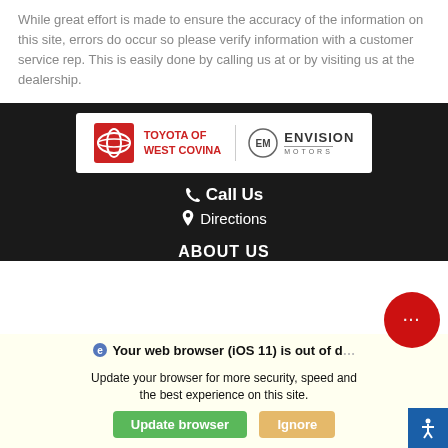While great effort is made to ensure the accuracy of the information on this site, errors do occur so please verify information with a customer service rep. This is easily done by calling us at or by visiting us at the dealership.
[Figure (logo): Toyota of West Covina logo with Envision Motors branding on white background]
Call Us
Directions
ABOUT US
We use cookies to optimize our website and our serv...
Cookie Policy    Privacy Statement
Your web browser (iOS 11) is out of date. Update your browser for more security, speed and the best experience on this site.